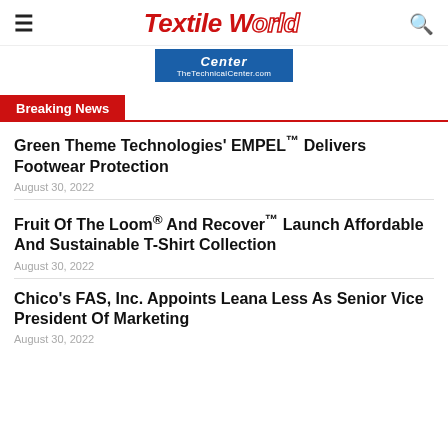Textile World
[Figure (other): Advertisement banner for TheTechnicalCenter.com showing partial text 'Center' and URL]
Breaking News
Green Theme Technologies' EMPEL™ Delivers Footwear Protection
August 30, 2022
Fruit Of The Loom® And Recover™ Launch Affordable And Sustainable T-Shirt Collection
August 30, 2022
Chico's FAS, Inc. Appoints Leana Less As Senior Vice President Of Marketing
August 30, 2022